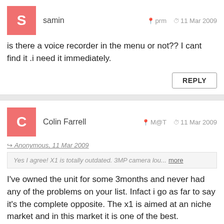samin   prm   11 Mar 2009
is there a voice recorder in the menu or not?? I cant find it .i need it immediately.
REPLY
Colin Farrell   M@T   11 Mar 2009
Anonymous, 11 Mar 2009
Yes I agree! X1 is totally outdated. 3MP camera lou... more
I've owned the unit for some 3months and never had any of the problems on your list. Infact i go as far to say it's the complete opposite. The x1 is aimed at an niche market and in this market it is one of the best.
REPLY